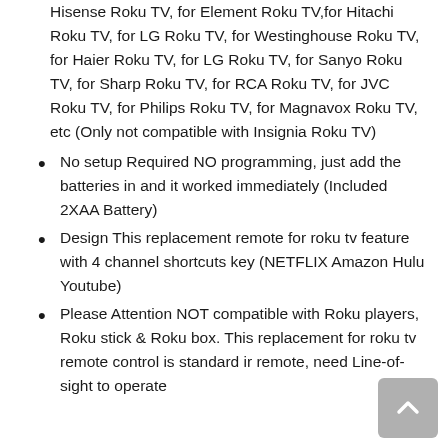Hisense Roku TV, for Element Roku TV,for Hitachi Roku TV, for LG Roku TV, for Westinghouse Roku TV, for Haier Roku TV, for LG Roku TV, for Sanyo Roku TV, for Sharp Roku TV, for RCA Roku TV, for JVC Roku TV, for Philips Roku TV, for Magnavox Roku TV, etc (Only not compatible with Insignia Roku TV)
No setup Required NO programming, just add the batteries in and it worked immediately (Included 2XAA Battery)
Design This replacement remote for roku tv feature with 4 channel shortcuts key (NETFLIX Amazon Hulu Youtube)
Please Attention NOT compatible with Roku players, Roku stick & Roku box. This replacement for roku tv remote control is standard ir remote, need Line-of-sight to operate